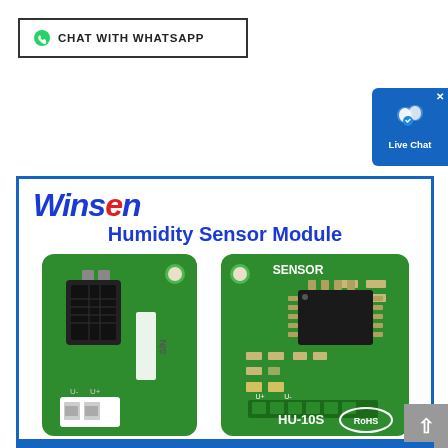CHAT WITH WHATSAPP
[Figure (screenshot): Live Chat button with user icon in blue, top right corner]
[Figure (photo): Winsen Humidity Sensor Module product card showing two green PCB boards - HU-10S sensor module from front and back, with logo and product name]
[Figure (photo): Scroll to top button (grey arrow up)]